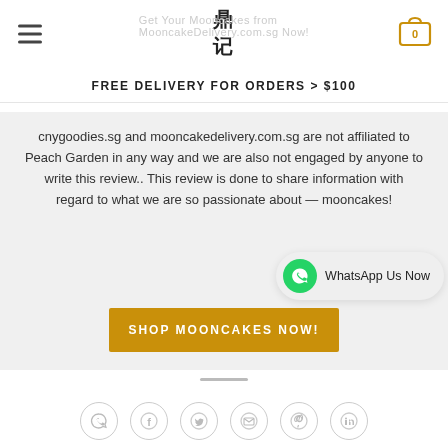鼎记 (logo) — navigation header with hamburger menu and cart
FREE DELIVERY FOR ORDERS > $100
cnygoodies.sg and mooncakedelivery.com.sg are not affiliated to Peach Garden in any way and we are also not engaged by anyone to write this review.. This review is done to share information with regard to what we are so passionate about — mooncakes!
[Figure (other): WhatsApp Us Now chat bubble overlay]
SHOP MOONCAKES NOW!
[Figure (other): Social sharing icons: WhatsApp, Facebook, Twitter, Email, Pinterest, LinkedIn]